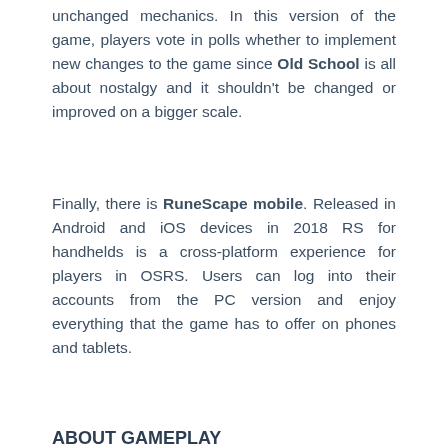unchanged mechanics. In this version of the game, players vote in polls whether to implement new changes to the game since Old School is all about nostalgy and it shouldn't be changed or improved on a bigger scale.
Finally, there is RuneScape mobile. Released in Android and iOS devices in 2018 RS for handhelds is a cross-platform experience for players in OSRS. Users can log into their accounts from the PC version and enjoy everything that the game has to offer on phones and tablets.
ABOUT GAMEPLAY
Don't be deceived by the fact that RuneScape was